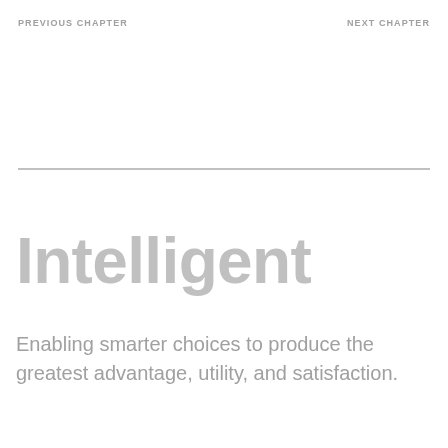PREVIOUS CHAPTER   NEXT CHAPTER
Intelligent
Enabling smarter choices to produce the greatest advantage, utility, and satisfaction.